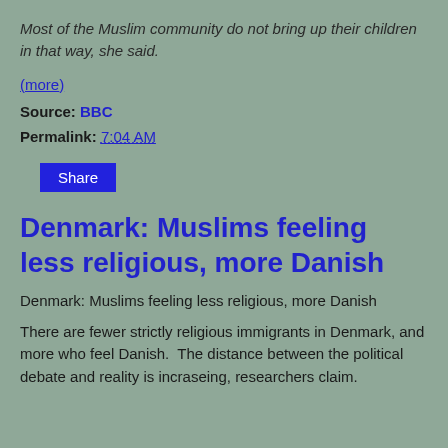Most of the Muslim community do not bring up their children in that way, she said.
(more)
Source: BBC
Permalink: 7:04 AM
Share
Denmark: Muslims feeling less religious, more Danish
Denmark: Muslims feeling less religious, more Danish
There are fewer strictly religious immigrants in Denmark, and more who feel Danish.  The distance between the political debate and reality is incraseing, researchers claim.